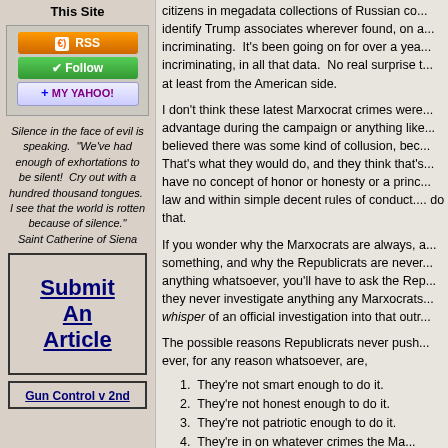This Site
[Figure (screenshot): RSS button, Follow button, and My Yahoo button]
Silence in the face of evil is speaking.  "We've had enough of exhortations to be silent!  Cry out with a hundred thousand tongues.  I see that the world is rotten because of silence." Saint Catherine of Siena
Submit An Article
Gun Control v 2nd
citizens in megadata collections of Russian co... identify Trump associates wherever found, on a... incriminating.  It's been going on for over a yea... incriminating, in all that data.  No real surprise t... at least from the American side.
I don't think these latest Marxocrat crimes were... advantage during the campaign or anything like... believed there was some kind of collusion, bec... That's what they would do, and they think that's... have no concept of honor or honesty or a princ... law and within simple decent rules of conduct.... do that.
If you wonder why the Marxocrats are always, a... something, and why the Republicrats are never... anything whatsoever, you'll have to ask the Rep... they never investigate anything any Marxocrats... whisper of an official investigation into that outr...
The possible reasons Republicrats never push... ever, for any reason whatsoever, are,
1. They're not smart enough to do it.
2. They're not honest enough to do it.
3. They're not patriotic enough to do it.
4. They're in on whatever crimes the Ma...